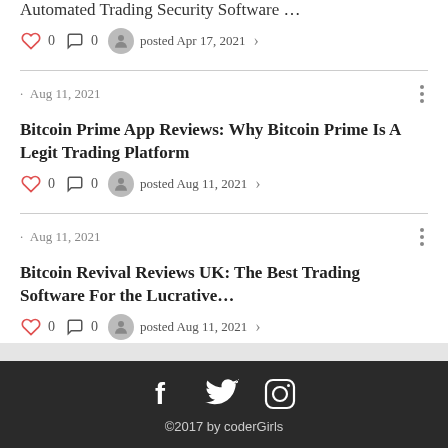Automated Trading Security Software …
0  0  posted Apr 17, 2021
· Aug 11, 2021
Bitcoin Prime App Reviews: Why Bitcoin Prime Is A Legit Trading Platform
0  0  posted Aug 11, 2021
· Aug 11, 2021
Bitcoin Revival Reviews UK: The Best Trading Software For the Lucrative…
0  0  posted Aug 11, 2021
©2017 by coderGirls